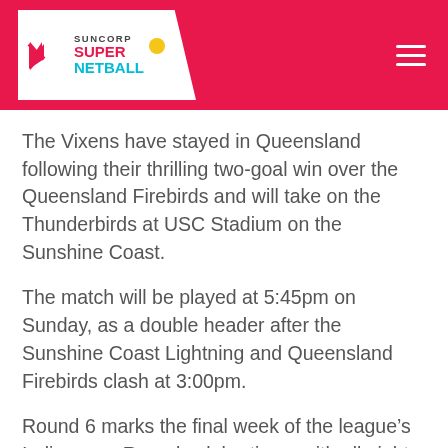Suncorp Super Netball
The Vixens have stayed in Queensland following their thrilling two-goal win over the Queensland Firebirds and will take on the Thunderbirds at USC Stadium on the Sunshine Coast.
The match will be played at 5:45pm on Sunday, as a double header after the Sunshine Coast Lightning and Queensland Firebirds clash at 3:00pm.
Round 6 marks the final week of the league's Indigenous Round celebrations, with all eight clubs wearing specially designed dresses and incorporating cultural performances into their